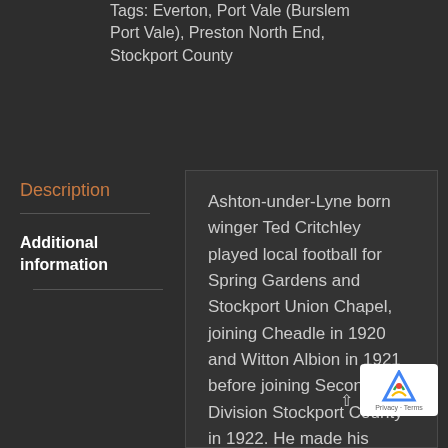Tags: Everton, Port Vale (Burslem Port Vale), Preston North End, Stockport County
Description
Additional information
Ashton-under-Lyne born winger Ted Critchley played local football for Spring Gardens and Stockport Union Chapel, joining Cheadle in 1920 and Witton Albion in 1921 before joining Second Division Stockport County in 1922. He made his Football League debut on 9th December 1922, in a 2-0 defeat to Port Vale at The Old Recreation Ground. His second appearance came on the last day of the 1922-23 season, as The Hatters secured their Second Division status with a 3-0 win over Southampton at Edgeley Park. County retained their o...